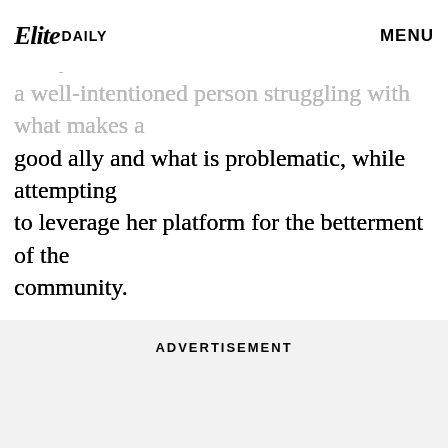Elite Daily | MENU
infuriatingly naive and deeply reminds me of myself... a well-intentioned person struggling with what makes a good ally and what is problematic, while attempting to leverage her platform for the betterment of the community.
ADVERTISEMENT